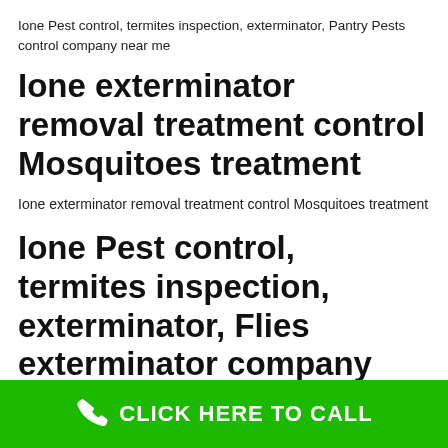Ione Pest control, termites inspection, exterminator, Pantry Pests control company near me
Ione exterminator removal treatment control Mosquitoes treatment
Ione exterminator removal treatment control Mosquitoes treatment
Ione Pest control, termites inspection, exterminator, Flies exterminator company near me
CLICK HERE TO CALL